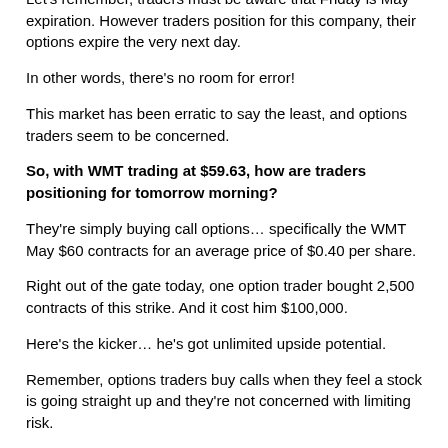traders are positioning for a rise in the stock price.
Let's remember, traders must be aware that Friday is May expiration.  However traders position for this company, their options expire the very next day.
In other words, there's no room for error!
This market has been erratic to say the least, and options traders seem to be concerned.
So, with WMT trading at $59.63, how are traders positioning for tomorrow morning?
They're simply buying call options… specifically the WMT May $60 contracts for an average price of $0.40 per share.
Right out of the gate today, one option trader bought 2,500 contracts of this strike.  And it cost him $100,000.
Here's the kicker… he's got unlimited upside potential.
Remember, options traders buy calls when they feel a stock is going straight up and they're not concerned with limiting risk.
So what's behind this bullish trade?